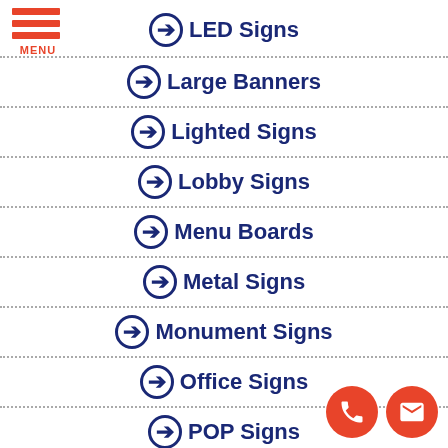[Figure (logo): Hamburger menu icon with three orange horizontal bars and the word MENU below in orange]
➔ LED Signs
➔ Large Banners
➔ Lighted Signs
➔ Lobby Signs
➔ Menu Boards
➔ Metal Signs
➔ Monument Signs
➔ Office Signs
➔ POP Signs
[Figure (other): Two circular orange contact icons: phone and email/envelope]